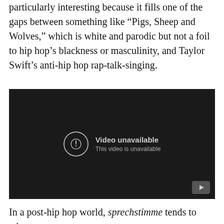particularly interesting because it fills one of the gaps between something like “Pigs, Sheep and Wolves,” which is white and parodic but not a foil to hip hop’s blackness or masculinity, and Taylor Swift’s anti-hip hop rap-talk-singing.
[Figure (screenshot): YouTube video embed showing 'Video unavailable - This video is unavailable' message on a dark background with a YouTube play button in the bottom right corner.]
In a post-hip hop world, sprechstimme tends to take